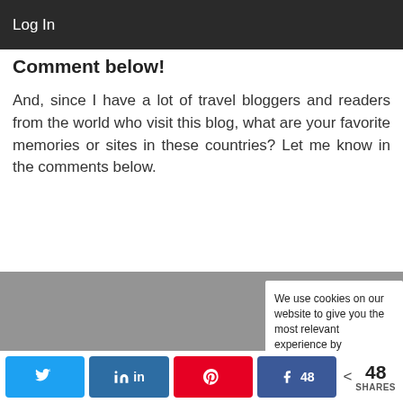Log In
Comment below!
And, since I have a lot of travel bloggers and readers from the world who visit this blog, what are your favorite memories or sites in these countries? Let me know in the comments below.
[Figure (screenshot): Partial cookie consent popup overlay showing text: 'We use cookies on our website to give you the most relevant experience by']
Manage Cookie Consent
We use cookies to optimize our website and our service.
[Figure (screenshot): Teal/cyan colored button bar partially visible at bottom of cookie consent dialog]
< 48 SHARES  [Twitter] [LinkedIn] [Pinterest] [Facebook 48]